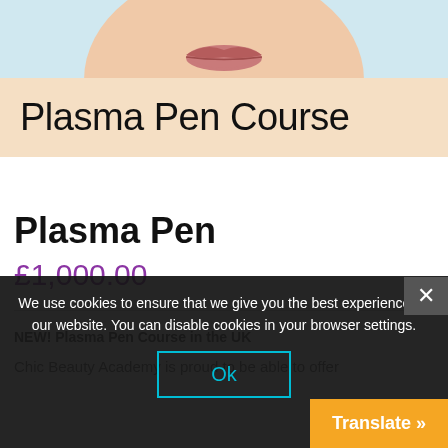[Figure (photo): Close-up photo of lower half of a face (lips and chin) against a light blue background, cropped at top]
Plasma Pen Course
Plasma Pen
£1,000.00
NEW! Plasma Pen Course in the UK
Chic Beauty Academy is proud to be able to offer
We use cookies to ensure that we give you the best experience on our website. You can disable cookies in your browser settings.
Ok
Translate »